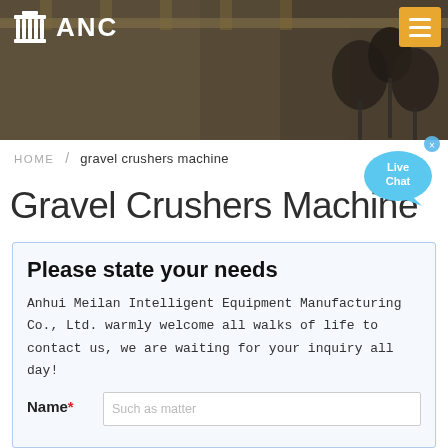[Figure (photo): Industrial factory interior background with microphones in foreground, darkened overlay. ANC logo with column/building icon on left, orange hamburger menu button on right.]
ANC
HOME / gravel crushers machine
[Figure (infographic): Blue speech bubble with 'Live Chat' text and an x close button]
Gravel Crushers Machine
Please state your needs
Anhui Meilan Intelligent Equipment Manufacturing Co., Ltd. warmly welcome all walks of life to contact us, we are waiting for your inquiry all day!
Name* [Such as matter]